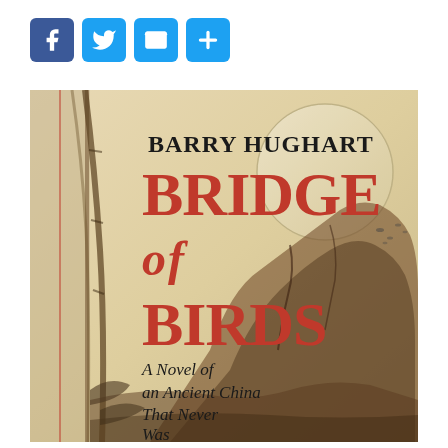[Figure (other): Social media sharing buttons: Facebook (blue f), Twitter (blue bird), Email (blue envelope), More/Plus (blue +)]
[Figure (photo): Book cover of 'Bridge of Birds' by Barry Hughart. Subtitle: 'A Novel of an Ancient China That Never Was'. Features Chinese ink-wash painting style artwork with mountains and a moon. Author name in black serif font, title in large red serif font.]